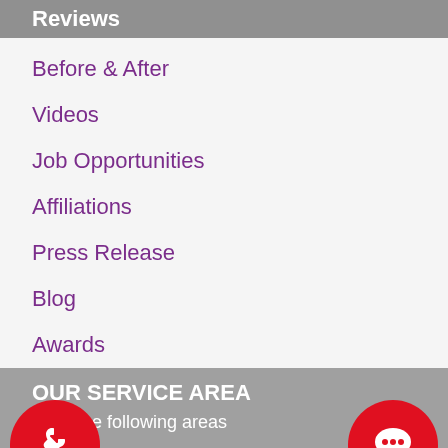Reviews
Before & After
Videos
Job Opportunities
Affiliations
Press Release
Blog
Awards
OUR SERVICE AREA
...rve the following areas
...vania